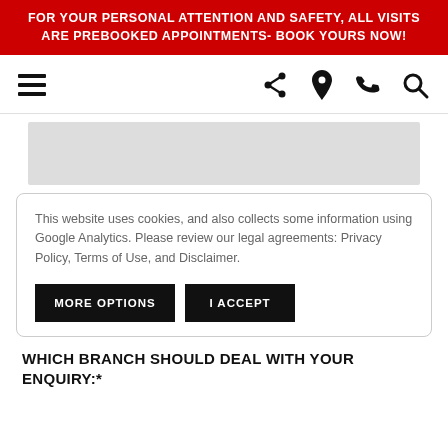FOR YOUR PERSONAL ATTENTION AND SAFETY, ALL VISITS ARE PREBOOKED APPOINTMENTS- BOOK YOURS NOW!
[Figure (screenshot): Navigation bar with hamburger menu on left and share, location, phone, search icons on right]
[Figure (photo): Gray image placeholder banner]
This website uses cookies, and also collects some information using Google Analytics. Please review our legal agreements: Privacy Policy, Terms of Use, and Disclaimer.
MORE OPTIONS | I ACCEPT
WHICH BRANCH SHOULD DEAL WITH YOUR ENQUIRY:*